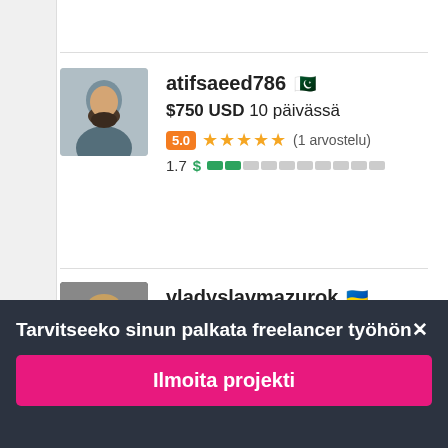atifsaeed786 🇵🇰
$750 USD 10 päivässä
5.0 ★★★★★ (1 arvostelu)
1.7 $ [progress bar]
vladyslavmazurok 🇺🇦
$555 USD 7 päivässä
Tarvitseeko sinun palkata freelancer työhön✕
Ilmoita projekti